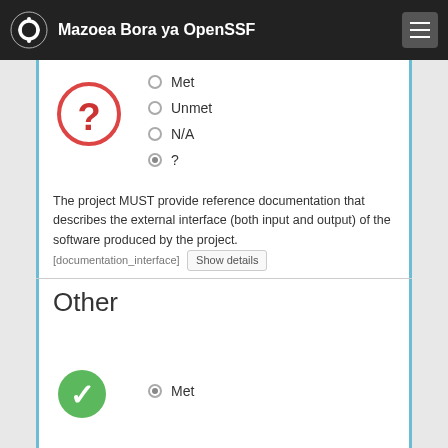Mazoea Bora ya OpenSSF
[Figure (other): Question mark icon in red circle indicating unknown/unanswered status]
Met
Unmet
N/A
?
The project MUST provide reference documentation that describes the external interface (both input and output) of the software produced by the project. [documentation_interface] Show details
Other
Met